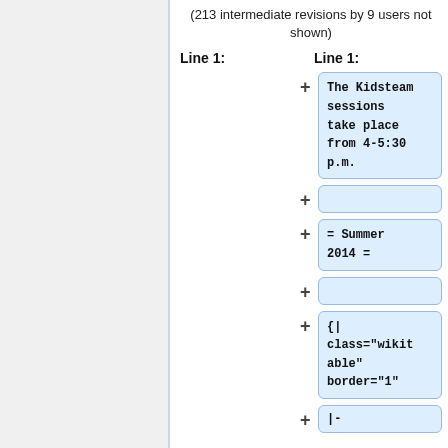(213 intermediate revisions by 9 users not shown)
Line 1:
Line 1:
The Kidsteam sessions take place from 4-5:30 p.m.
= Summer 2014 =
{|
class="wikitable" border="1"
|-